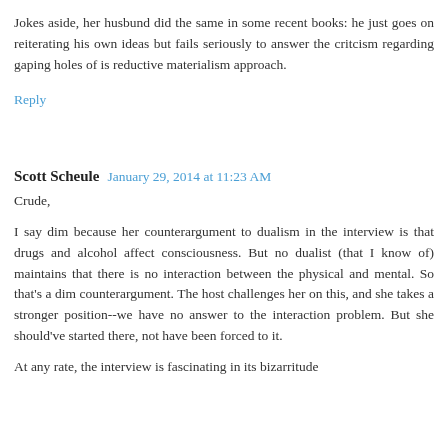Jokes aside, her husbund did the same in some recent books: he just goes on reiterating his own ideas but fails seriously to answer the critcism regarding gaping holes of is reductive materialism approach.
Reply
Scott Scheule   January 29, 2014 at 11:23 AM
Crude,
I say dim because her counterargument to dualism in the interview is that drugs and alcohol affect consciousness. But no dualist (that I know of) maintains that there is no interaction between the physical and mental. So that's a dim counterargument. The host challenges her on this, and she takes a stronger position--we have no answer to the interaction problem. But she should've started there, not have been forced to it.
At any rate, the interview is fascinating in its bizarritude